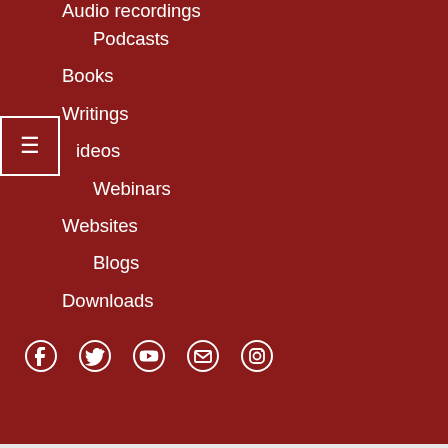Audio recordings
Podcasts
Books
Writings
Videos
Webinars
Websites
Blogs
Downloads
[Figure (infographic): Social media icons: Facebook, Twitter, YouTube, Email, Instagram]